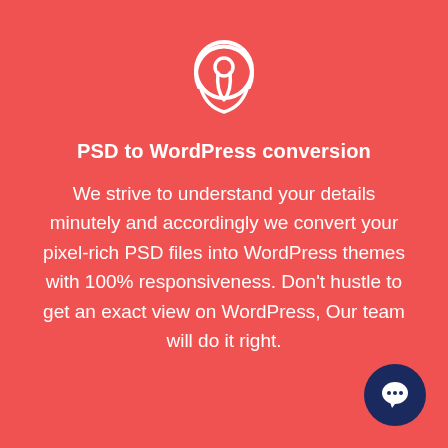[Figure (logo): White open-source (OSI) style keyhole/lock icon outline on red background]
PSD to WordPress conversion
We strive to understand your details minutely and accordingly we convert your pixel-rich PSD files into WordPress themes with 100% responsiveness. Don't hustle to get an exact view on WordPress, Our team will do it right.
[Figure (illustration): Dark navy blue circle chat bubble icon in bottom-right corner]